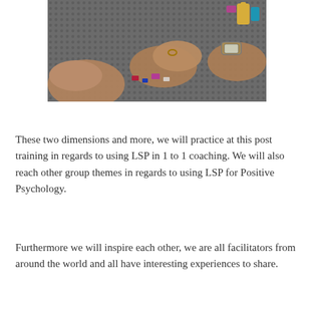[Figure (photo): Hands-on photo of people working with LEGO pieces on a large gray LEGO baseplate, building models during a LEGO Serious Play (LSP) session]
These two dimensions and more, we will practice at this post training in regards to using LSP in 1 to 1 coaching. We will also reach other group themes in regards to using LSP for Positive Psychology.
Furthermore we will inspire each other, we are all facilitators from around the world and all have interesting experiences to share.